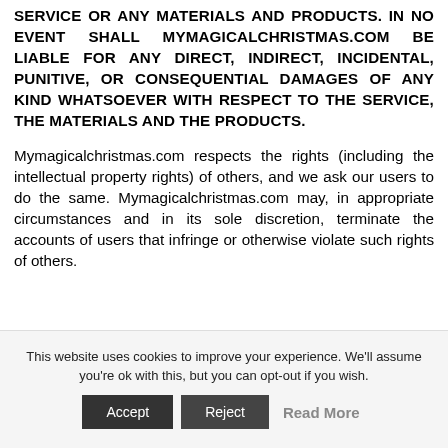SERVICE OR ANY MATERIALS AND PRODUCTS. IN NO EVENT SHALL Mymagicalchristmas.com BE LIABLE FOR ANY DIRECT, INDIRECT, INCIDENTAL, PUNITIVE, OR CONSEQUENTIAL DAMAGES OF ANY KIND WHATSOEVER WITH RESPECT TO THE SERVICE, THE MATERIALS AND THE PRODUCTS.
Mymagicalchristmas.com respects the rights (including the intellectual property rights) of others, and we ask our users to do the same. Mymagicalchristmas.com may, in appropriate circumstances and in its sole discretion, terminate the accounts of users that infringe or otherwise violate such rights of others.
This website uses cookies to improve your experience. We'll assume you're ok with this, but you can opt-out if you wish.